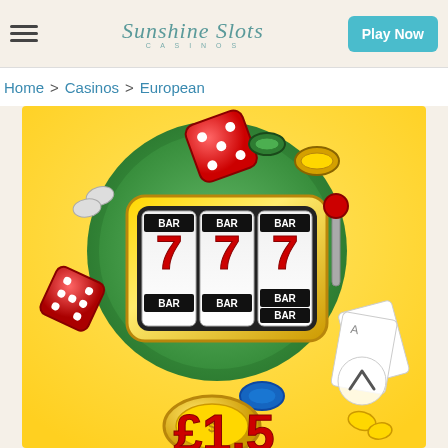Sunshine Slots Casinos — Play Now
Home > Casinos > European
[Figure (illustration): Casino slot machine showing 777 with BAR symbols, surrounded by dice, poker chips, playing cards, and gold coins on a green and yellow background. Partially visible text at bottom showing a monetary amount starting with a number.]